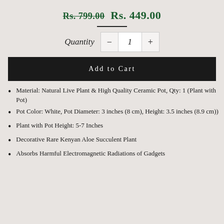Rs. 799.00 Rs. 449.00
Quantity 1
Add to Cart
Material: Natural Live Plant & High Quality Ceramic Pot, Qty: 1 (Plant with Pot)
Pot Color: White, Pot Diameter: 3 inches (8 cm), Height: 3.5 inches (8.9 cm))
Plant with Pot Height: 5-7 Inches
Decorative Rare Kenyan Aloe Succulent Plant
Absorbs Harmful Electromagnetic Radiations of Gadgets